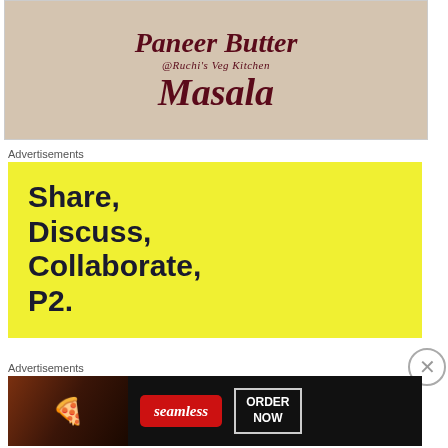[Figure (photo): Cropped food blog image showing decorative lace background with cursive dark red text reading '@Ruchi's Veg Kitchen' and 'Masala' in large script, partial text of 'Paneer Butter' at top]
Advertisements
[Figure (infographic): Yellow advertisement banner with large bold dark text reading 'Share, Discuss, Collaborate, P2.']
Advertisements
[Figure (photo): Seamless food delivery advertisement banner showing pizza image on left, 'seamless' logo in red rounded rectangle, and 'ORDER NOW' button with white border on dark background]